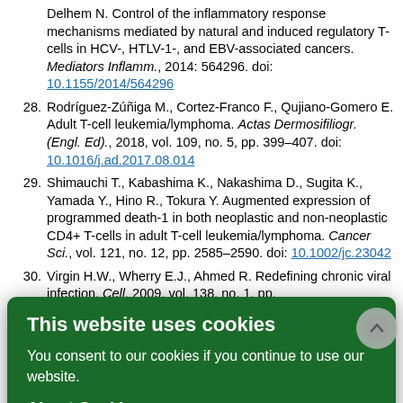Delhem N. Control of the inflammatory response mechanisms mediated by natural and induced regulatory T-cells in HCV-, HTLV-1-, and EBV-associated cancers. Mediators Inflamm., 2014: 564296. doi: 10.1155/2014/564296
28. Rodríguez-Zúñiga M., Cortez-Franco F., Qujiano-Gomero E. Adult T-cell leukemia/lymphoma. Actas Dermosifiliogr. (Engl. Ed)., 2018, vol. 109, no. 5, pp. 399–407. doi: 10.1016/j.ad.2017.08.014
29. Shimauchi T., Kabashima K., Nakashima D., Sugita K., Yamada Y., Hino R., Tokura Y. Augmented expression of programmed death-1 in both neoplastic and non-neoplastic CD4+ T-cells in adult T-cell leukemia/lymphoma. Cancer Sci., vol. 121, no. 12, pp. 2585–2590. doi: 10.1002/jc.23042
30. Bargin H.W., Wherry E.J., Ahmed R. Redefining chronic viral infection. Cell, 2009, vol. 138, no. 1, pp. 30.1016/j.cell.2009.06.036
31. Workman C.J., Rice D.S., Dugger K.J., Kurschner C., Vignali D.A. Phenotypic analysis of the murine CD4 related glycoprotein, CD223 (LAG-3). Eur. J. Immunol., 2002, vol. 32, no. 8, pp. 2255–2263. doi: 10.1002/1521-4141(200208)32:8<2255::AID-IMMU2255>3.0.CO;2-A.
32. Yasuma K., Yasunaga J.-I., Takemoto K., Sugata K., Mitobe Y., Takenouchi N., Nakagawa M., Suzuki Y., Matsuoka M. HTLV-1 bZIP factor impairs anti-viral immunity by inducing co-inhibitory molecule, T cell immunoglobulin and HTLV-1 bZIP (TIM). Bio...